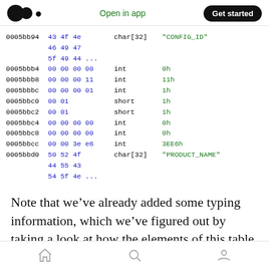Open in app | Get started
| address | hex bytes | type | value |
| --- | --- | --- | --- |
| 0005bb94 | 43 4f 4e 46 49 47 5f 49 44 ... | char[32] | "CONFIG_ID" |
| 0005bbb4 | 00 00 00 00 | int | 0h |
| 0005bbb8 | 00 00 00 11 | int | 11h |
| 0005bbbc | 00 00 00 01 | int | 1h |
| 0005bbc0 | 00 01 | short | 1h |
| 0005bbc2 | 00 01 | short | 1h |
| 0005bbc4 | 00 00 00 00 | int | 0h |
| 0005bbc8 | 00 00 00 00 | int | 0h |
| 0005bbcc | 00 00 3e e6 | int | 3EE6h |
| 0005bbd0 | 50 52 4f 44 55 43 54 5f 4e ... | char[32] | "PRODUCT_NAME" |
Note that we’ve already added some typing information, which we’ve figured out by taking a look at how the elements of this table were being
home | search | profile